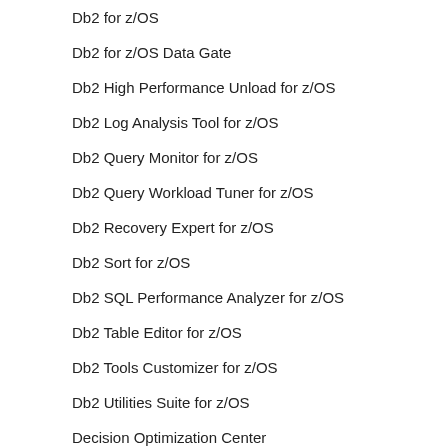| Product | Count |
| --- | --- |
| Db2 for z/OS | 302 |
| Db2 for z/OS Data Gate | 0 |
| Db2 High Performance Unload for z/OS | 4 |
| Db2 Log Analysis Tool for z/OS | 6 |
| Db2 Query Monitor for z/OS | 17 |
| Db2 Query Workload Tuner for z/OS | 2 |
| Db2 Recovery Expert for z/OS | 1 |
| Db2 Sort for z/OS | 1 |
| Db2 SQL Performance Analyzer for z/OS | 9 |
| Db2 Table Editor for z/OS | 0 |
| Db2 Tools Customizer for z/OS | 1 |
| Db2 Utilities Suite for z/OS | 9 |
| Decision Optimization Center | 1 |
| Decision Optimization CPLEX & For Watson Studio | 67 |